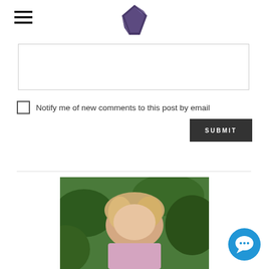[Figure (logo): Geometric triangular logo shape in dark purple/blue tones positioned in the top center of the header]
[Figure (other): Hamburger menu icon (three horizontal lines) in the top left of the header]
[Figure (other): Empty text input/textarea box with gray border]
Notify me of new comments to this post by email
[Figure (other): Dark gray SUBMIT button with white uppercase text]
[Figure (photo): Partial photo of a woman with blonde hair against a green background, cropped at bottom of page]
[Figure (other): Blue circular chat/messaging button in bottom right corner with speech bubble and dots icon]